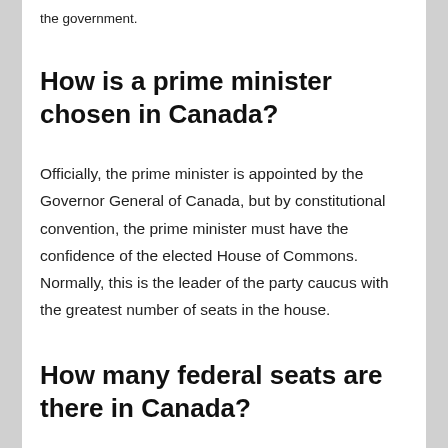the government.
How is a prime minister chosen in Canada?
Officially, the prime minister is appointed by the Governor General of Canada, but by constitutional convention, the prime minister must have the confidence of the elected House of Commons. Normally, this is the leader of the party caucus with the greatest number of seats in the house.
How many federal seats are there in Canada?